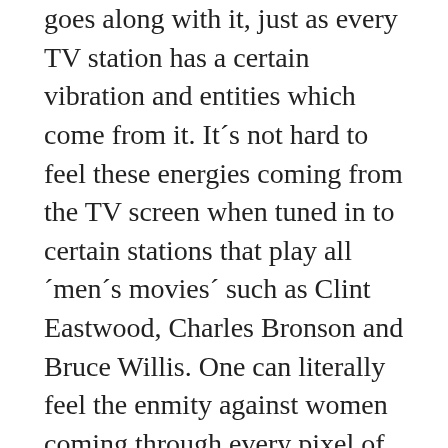goes along with it, just as every TV station has a certain vibration and entities which come from it. It´s not hard to feel these energies coming from the TV screen when tuned in to certain stations that play all ´men´s movies´ such as Clint Eastwood, Charles Bronson and Bruce Willis. One can literally feel the enmity against women coming through every pixel of the screen.
During World War 2 the BBC in London broadcast signals into occupied Europe with other signals ´piggybacking´ on the ones broadcast. Trust me, the technology is at an infinitely higher level right now